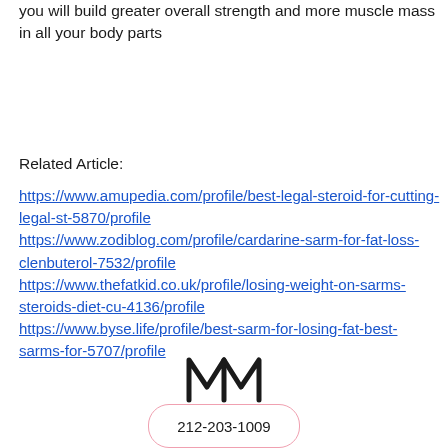you will build greater overall strength and more muscle mass in all your body parts
Related Article:
https://www.amupedia.com/profile/best-legal-steroid-for-cutting-legal-st-5870/profile
https://www.zodiblog.com/profile/cardarine-sarm-for-fat-loss-clenbuterol-7532/profile
https://www.thefatkid.co.uk/profile/losing-weight-on-sarms-steroids-diet-cu-4136/profile
https://www.byse.life/profile/best-sarm-for-losing-fat-best-sarms-for-5707/profile
[Figure (logo): M logo with text below (Masterpiece or similar brand)]
212-203-1009